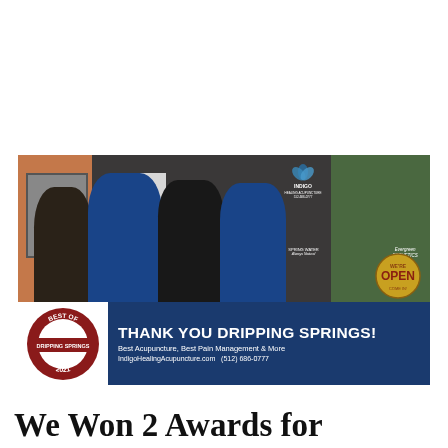[Figure (photo): Advertisement photo for Indigo Healing Acupuncture showing four female staff members standing in front of the clinic entrance, smiling. Bottom banner in navy blue shows 'Best of Dripping Springs 2021' badge on the left, and text 'THANK YOU DRIPPING SPRINGS! Best Acupuncture, Best Pain Management & More, IndigoHealingAcupuncture.com (512) 686-0777' on the right.]
We Won 2 Awards for